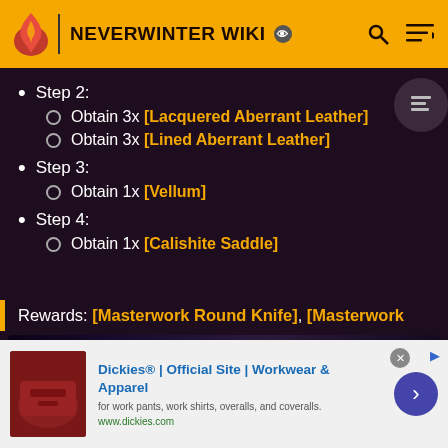NEVERWINTER WIKI
Step 2:
Obtain 3x [Lacquered Aberrant Leather]
Obtain 3x [Lined Aberrant Leather]
Step 3:
Obtain 1x [Vellum]
Step 4:
Obtain 1x [Calishite Saddle]
Rewards: [Masterwork Round Knife], [Masterwork
[Figure (screenshot): Neverwinter Uprising game advertisement banner with Play Now button and Dungeons & Dragons logo]
[Figure (screenshot): Dickies Official Site advertisement for workwear and apparel at www.dickies.com]